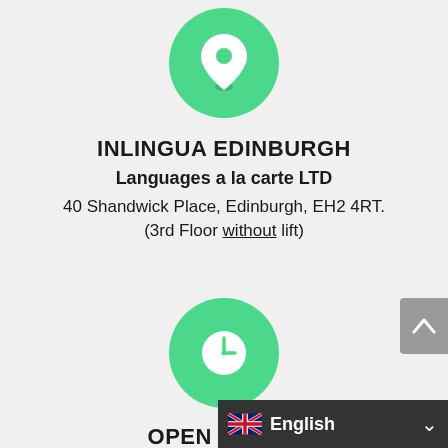[Figure (illustration): Green circle with white map pin/location icon]
INLINGUA EDINBURGH
Languages a la carte LTD
40 Shandwick Place, Edinburgh, EH2 4RT.
(3rd Floor without lift)
[Figure (illustration): Green circle with white clock icon]
OPEN HOURS
Monday - Thursday